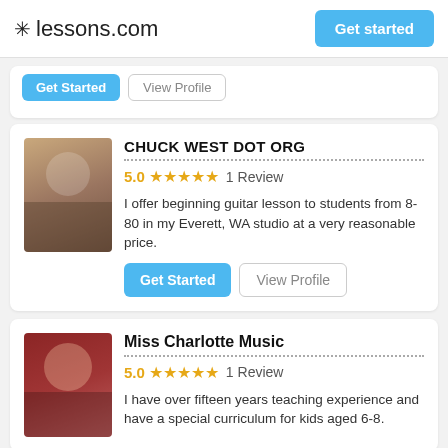lessons.com | Get started
Get Started | View Profile (partial card)
CHUCK WEST DOT ORG
5.0 ★★★★★ 1 Review
I offer beginning guitar lesson to students from 8-80 in my Everett, WA studio at a very reasonable price.
Get Started | View Profile
Miss Charlotte Music
5.0 ★★★★★ 1 Review
I have over fifteen years teaching experience and have a special curriculum for kids aged 6-8.